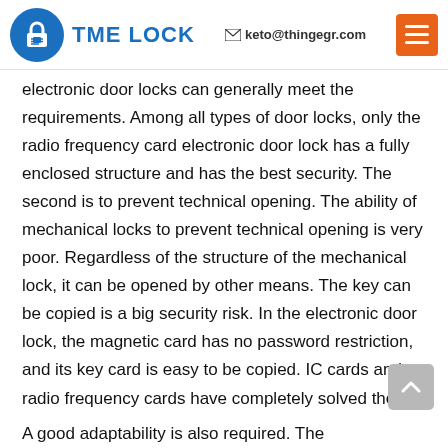TME LOCK | keto@thingegr.com
electronic door locks can generally meet the requirements. Among all types of door locks, only the radio frequency card electronic door lock has a fully enclosed structure and has the best security. The second is to prevent technical opening. The ability of mechanical locks to prevent technical opening is very poor. Regardless of the structure of the mechanical lock, it can be opened by other means. The key can be copied is a big security risk. In the electronic door lock, the magnetic card has no password restriction, and its key card is easy to be copied. IC cards and radio frequency cards have completely solved the problem of preventing technology from being turned on.